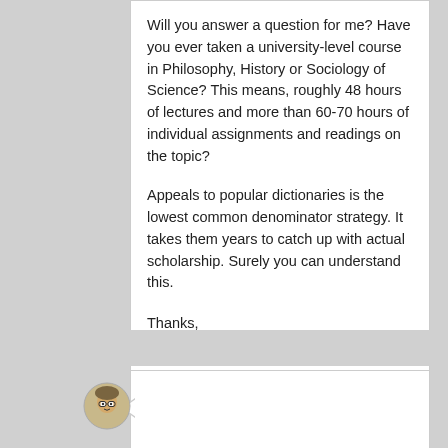Will you answer a question for me? Have you ever taken a university-level course in Philosophy, History or Sociology of Science? This means, roughly 48 hours of lectures and more than 60-70 hours of individual assignments and readings on the topic?
Appeals to popular dictionaries is the lowest common denominator strategy. It takes them years to catch up with actual scholarship. Surely you can understand this.
Thanks,
Gregory
[Figure (other): Like button (thumbs up icon on gray background) and vote count showing 0]